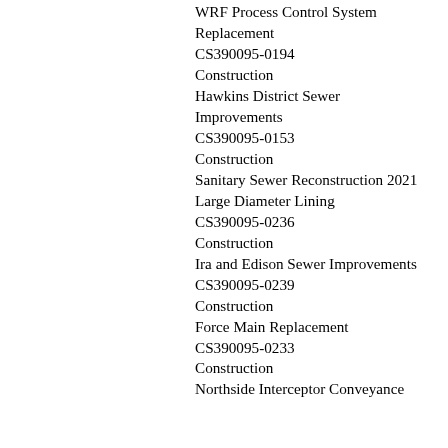WRF Process Control System Replacement
CS390095-0194
Construction
Hawkins District Sewer Improvements
CS390095-0153
Construction
Sanitary Sewer Reconstruction 2021 Large Diameter Lining
CS390095-0236
Construction
Ira and Edison Sewer Improvements
CS390095-0239
Construction
Force Main Replacement
CS390095-0233
Construction
Northside Interceptor Conveyance